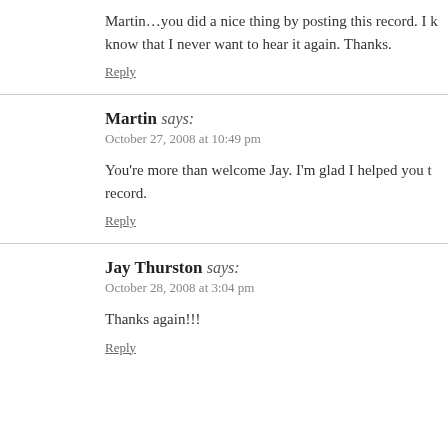Martin…you did a nice thing by posting this record. I know that I never want to hear it again. Thanks.
Reply
Martin says:
October 27, 2008 at 10:49 pm
You're more than welcome Jay. I'm glad I helped you t record.
Reply
Jay Thurston says:
October 28, 2008 at 3:04 pm
Thanks again!!!
Reply